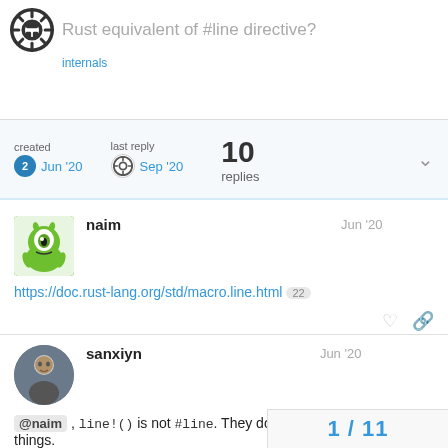Rust equivalent of #line directive?
| created | last reply | replies |
| --- | --- | --- |
| 2 Jun '20 | Sep '20 | 10 |
naim  Jun '20
https://doc.rust-lang.org/std/macro.line.html 22
sanxiyn  Jun '20
@naim , line!() is not #line. They do completely different things.
1 / 11